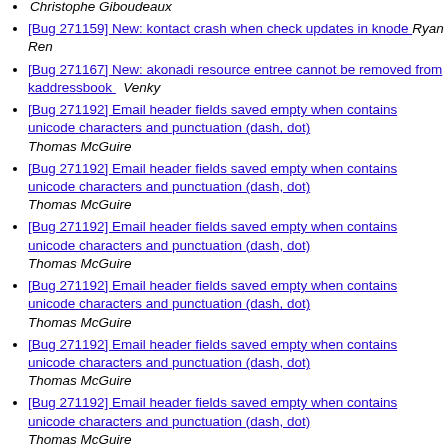Christophe Giboudeaux
[Bug 271159] New: kontact crash when check updates in knode  Ryan Ren
[Bug 271167] New: akonadi resource entree cannot be removed from kaddressbook  Venky
[Bug 271192] Email header fields saved empty when contains unicode characters and punctuation (dash, dot)  Thomas McGuire
[Bug 271192] Email header fields saved empty when contains unicode characters and punctuation (dash, dot)  Thomas McGuire
[Bug 271192] Email header fields saved empty when contains unicode characters and punctuation (dash, dot)  Thomas McGuire
[Bug 271192] Email header fields saved empty when contains unicode characters and punctuation (dash, dot)  Thomas McGuire
[Bug 271192] Email header fields saved empty when contains unicode characters and punctuation (dash, dot)  Thomas McGuire
[Bug 271192] Email header fields saved empty when contains unicode characters and punctuation (dash, dot)  Thomas McGuire
[Bug 271192] Email header fields saved empty when contains unicode characters and punctuation (dash, dot)